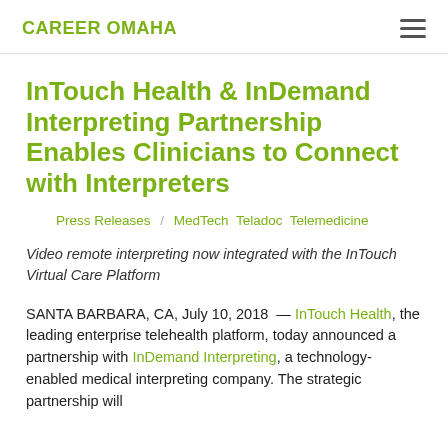CAREER OMAHA
InTouch Health & InDemand Interpreting Partnership Enables Clinicians to Connect with Interpreters
Press Releases / MedTech  Teladoc  Telemedicine
Video remote interpreting now integrated with the InTouch Virtual Care Platform
SANTA BARBARA, CA, July 10, 2018 — InTouch Health, the leading enterprise telehealth platform, today announced a partnership with InDemand Interpreting, a technology-enabled medical interpreting company. The strategic partnership will